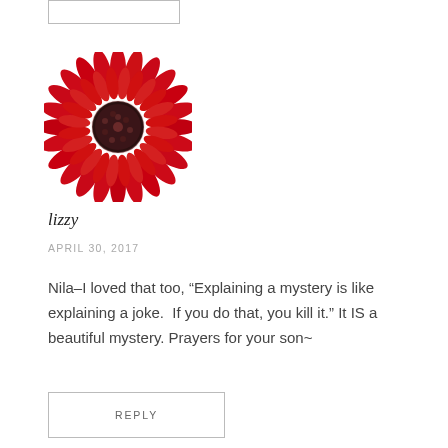[Figure (illustration): Red gerbera daisy flower avatar image]
lizzy
APRIL 30, 2017
Nila–I loved that too, “Explaining a mystery is like explaining a joke.  If you do that, you kill it.” It IS a beautiful mystery. Prayers for your son~
REPLY